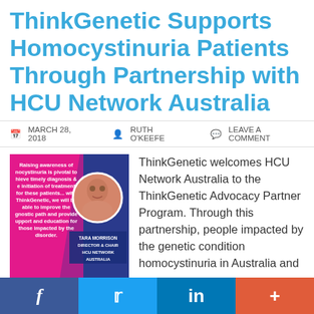ThinkGenetic Supports Homocystinuria Patients Through Partnership with HCU Network Australia
MARCH 28, 2018   RUTH O'KEEFE   LEAVE A COMMENT
[Figure (photo): Promotional image with pink and dark blue background, quote about raising awareness of homocystinuria, circular headshot of Tara Morrison, with text identifying her as Director & Chair, HCU Network Australia]
ThinkGenetic welcomes HCU Network Australia to the ThinkGenetic Advocacy Partner Program. Through this partnership, people impacted by the genetic condition homocystinuria in Australia and